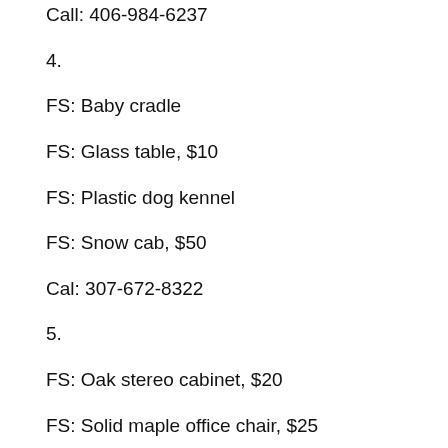Call: 406-984-6237
4.
FS: Baby cradle
FS: Glass table, $10
FS: Plastic dog kennel
FS: Snow cab, $50
Cal: 307-672-8322
5.
FS: Oak stereo cabinet, $20
FS: Solid maple office chair, $25
FS: Lamp and wooden planter, $2